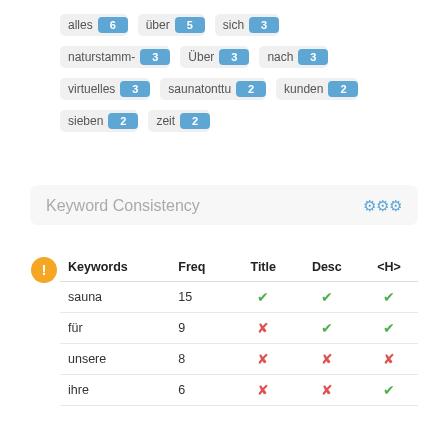[Figure (infographic): Word frequency tag pills arranged in rows: alles 6, über 5, sich 3 / naturstamm- 3, Über 3, nach 3 / virtuelles 3, saunatonttu 2, kunden 2 / sieben 2, zeit 2]
Keyword Consistency
| Keywords | Freq | Title | Desc | <H> |
| --- | --- | --- | --- | --- |
| sauna | 15 | ✓ | ✓ | ✓ |
| für | 9 | ✗ | ✓ | ✓ |
| unsere | 8 | ✗ | ✗ | ✗ |
| ihre | 6 | ✗ | ✗ | ✓ |